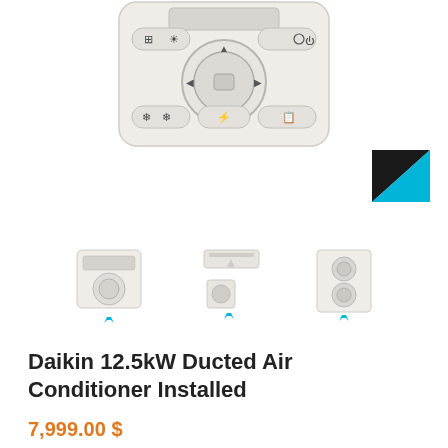[Figure (photo): Daikin round thermostat/remote control panel with circular navigation buttons, mode icons, and menu symbols on a white rectangular unit]
[Figure (logo): Daikin brand logo triangle in black and cyan/blue colors]
[Figure (photo): Three product thumbnail images: left - wall-mounted controller/remote, center - ducted indoor unit with outdoor unit, right - outdoor condenser unit. Each with small Daikin chevron logo below.]
Daikin 12.5kW Ducted Air Conditioner Installed
7,999.00 $